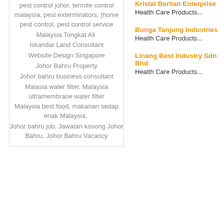pest control johor, termite control malaysia, pest exterminators, [home pest control, pest control service
Malaysia Tongkat Ali 토옾캅퓰
Iskandar Land Consultant
Website Design Singapore
Johor Bahru Property
Johor bahru business consultant
Malasia water filter, Malaysia ultramembrane water filter
Malaysia best food, makanan sedap enak Malaysia, 나라나라나
Johor bahru job, Jawatan kosong Johor Bahru, Johor Bahru Vacancy
Kristal Berlian Enterprise
Health Care Products...
Bunga Tanjung Industries
Health Care Products...
Linang Best Industry Sdn Bhd
Health Care Products...